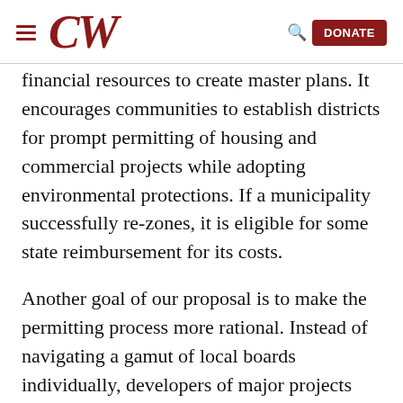CW | DONATE
financial resources to create master plans. It encourages communities to establish districts for prompt permitting of housing and commercial projects while adopting environmental protections. If a municipality successfully re-zones, it is eligible for some state reimbursement for its costs.
Another goal of our proposal is to make the permitting process more rational. Instead of navigating a gamut of local boards individually, developers of major projects (larger than 25,000 square feet or 25 units) could submit a common application to all boards simultaneously and be granted a joint public hearing